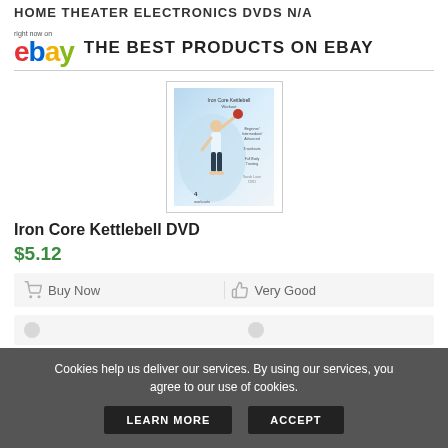HOME THEATER ELECTRONICS DVDS N/A
right now on eBay THE BEST PRODUCTS ON EBAY
[Figure (photo): Iron Core Kettlebell DVD cover showing a woman in workout clothes holding a kettlebell overhead]
Iron Core Kettlebell DVD
$5.12
Buy Now
Very Good
Cookies help us deliver our services. By using our services, you agree to our use of cookies.
LEARN MORE
ACCEPT